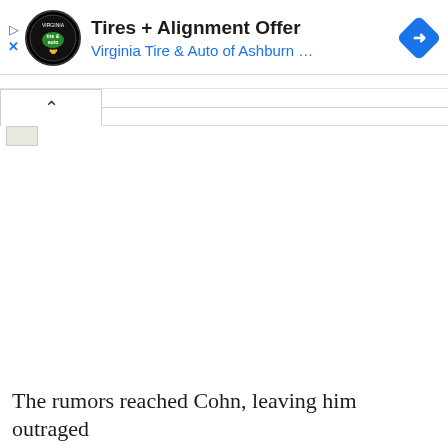[Figure (screenshot): Advertisement banner for Virginia Tire & Auto of Ashburn featuring logo, title 'Tires + Alignment Offer', subtitle in blue, and a blue navigation/directions diamond icon on the right. Below is a collapse/hide bar with a caret-up button.]
The rumors reached Cohn, leaving him outraged